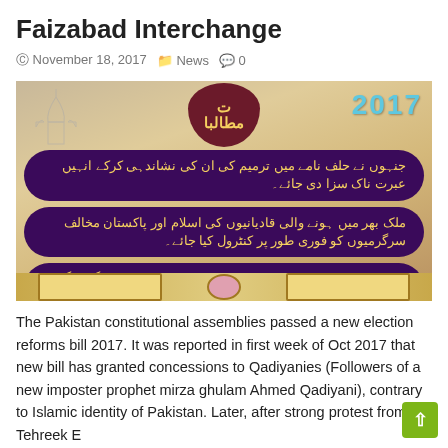Faizabad Interchange
© November 18, 2017   📁 News   💬 0
[Figure (photo): An image with Urdu text on dark purple banners against a golden/ornate background with the year 2017, showing three demands in Urdu script]
The Pakistan constitutional assemblies passed a new election reforms bill 2017. It was reported in first week of Oct 2017 that new bill has granted concessions to Qadiyanies (Followers of a new imposter prophet mirza ghulam Ahmed Qadiyani), contrary to Islamic identity of Pakistan. Later, after strong protest from Tehreek E
...